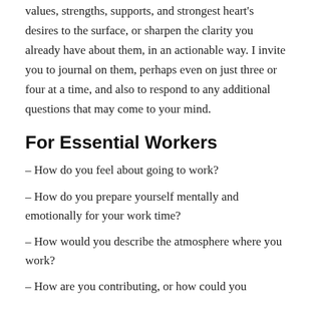values, strengths, supports, and strongest heart's desires to the surface, or sharpen the clarity you already have about them, in an actionable way. I invite you to journal on them, perhaps even on just three or four at a time, and also to respond to any additional questions that may come to your mind.
For Essential Workers
– How do you feel about going to work?
– How do you prepare yourself mentally and emotionally for your work time?
– How would you describe the atmosphere where you work?
– How are you contributing, or how could you